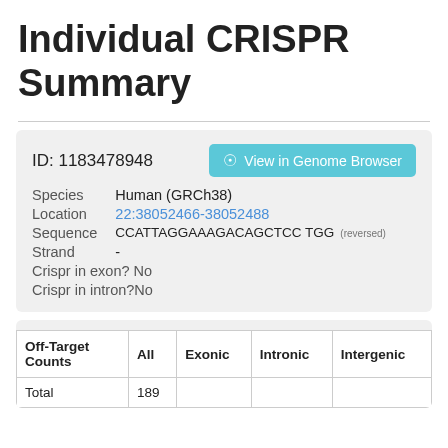Individual CRISPR Summary
|  |  |
| --- | --- |
| ID: 1183478948 | View in Genome Browser |
| Species | Human (GRCh38) |
| Location | 22:38052466-38052488 |
| Sequence | CCATTAGGAAAGACAGCTCC TGG (reversed) |
| Strand | - |
| Crispr in exon? | No |
| Crispr in intron? | No |
| Off-Target Counts | All | Exonic | Intronic | Intergenic |
| --- | --- | --- | --- | --- |
| Total | 189 |  |  |  |